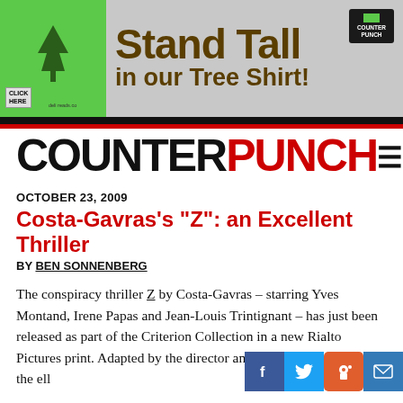[Figure (illustration): Advertisement banner for a tree shirt. Green t-shirt with tree graphic on left, 'Stand Tall in our Tree Shirt!' text in brown/olive on gray background, small logo top right, 'CLICK HERE' button bottom left.]
COUNTERPUNCH
OCTOBER 23, 2009
Costa-Gavras's "Z": an Excellent Thriller
BY BEN SONNENBERG
The conspiracy thriller Z by Costa-Gavras – starring Yves Montand, Irene Papas and Jean-Louis Trintignant – has just been released as part of the Criterion Collection in a new Rialto Pictures print. Adapted by the director and Jorge Semprún from the ell